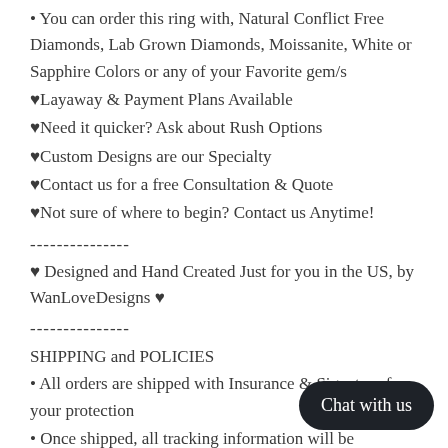• You can order this ring with, Natural Conflict Free Diamonds, Lab Grown Diamonds, Moissanite, White or Sapphire Colors or any of your Favorite gem/s
♥Layaway & Payment Plans Available
♥Need it quicker? Ask about Rush Options
♥Custom Designs are our Specialty
♥Contact us for a free Consultation & Quote
♥Not sure of where to begin? Contact us Anytime!
---------------
♥ Designed and Hand Created Just for you in the US, by WanLoveDesigns ♥
---------------
SHIPPING and POLICIES
• All orders are shipped with Insurance & Signature for your protection
• Once shipped, all tracking information will be